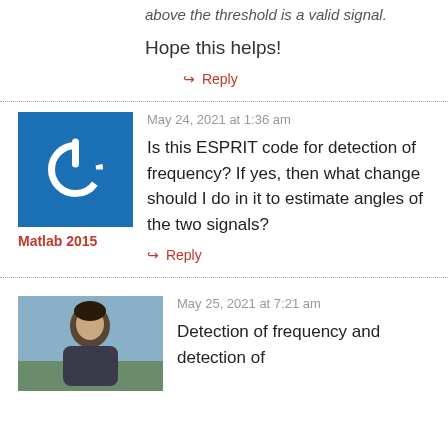above the threshold is a valid signal.
Hope this helps!
↪ Reply
May 24, 2021 at 1:36 am
Matlab 2015
Is this ESPRIT code for detection of frequency? If yes, then what change should I do in it to estimate angles of the two signals?
↪ Reply
May 25, 2021 at 7:21 am
Detection of frequency and detection of